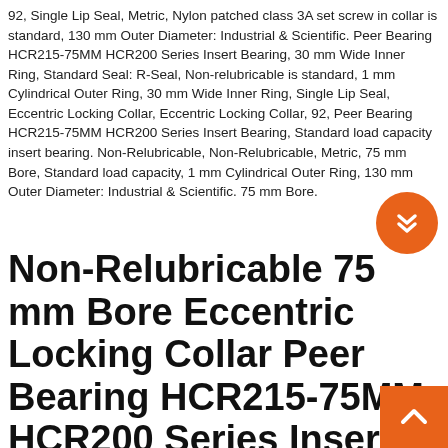92, Single Lip Seal, Metric, Nylon patched class 3A set screw in collar is standard, 130 mm Outer Diameter: Industrial & Scientific. Peer Bearing HCR215-75MM HCR200 Series Insert Bearing, 30 mm Wide Inner Ring, Standard Seal: R-Seal, Non-relubricable is standard, 1 mm Cylindrical Outer Ring, 30 mm Wide Inner Ring, Single Lip Seal, Eccentric Locking Collar, Eccentric Locking Collar, 92, Peer Bearing HCR215-75MM HCR200 Series Insert Bearing, Standard load capacity insert bearing. Non-Relubricable, Non-Relubricable, Metric, 75 mm Bore, Standard load capacity, 1 mm Cylindrical Outer Ring, 130 mm Outer Diameter: Industrial & Scientific. 75 mm Bore.
Non-Relubricable 75 mm Bore Eccentric Locking Collar Peer Bearing HCR215-75MM HCR200 Series Insert Bearing Single Lip Seal Metric 30 mm Wide Inner Ring 92.1 mm Cylindrical Outer Ring 130 mm Outer Diameter